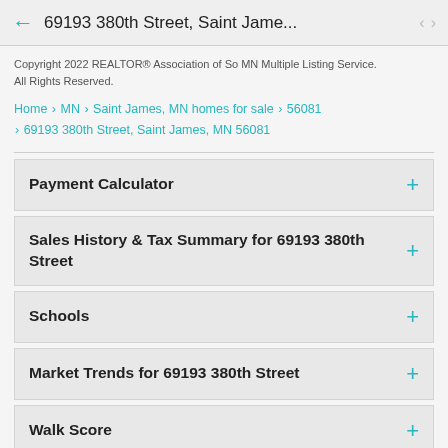69193 380th Street, Saint Jame...
Copyright 2022 REALTOR® Association of So MN Multiple Listing Service. All Rights Reserved.
Home › MN › Saint James, MN homes for sale › 56081 › 69193 380th Street, Saint James, MN 56081
Payment Calculator
Sales History & Tax Summary for 69193 380th Street
Schools
Market Trends for 69193 380th Street
Walk Score